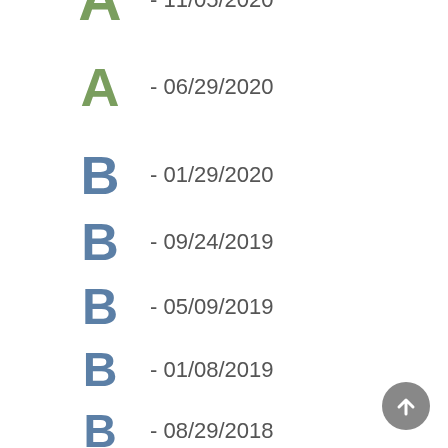A - 11/05/2020
A - 06/29/2020
B - 01/29/2020
B - 09/24/2019
B - 05/09/2019
B - 01/08/2019
B - 08/29/2018
- 04/23/2018